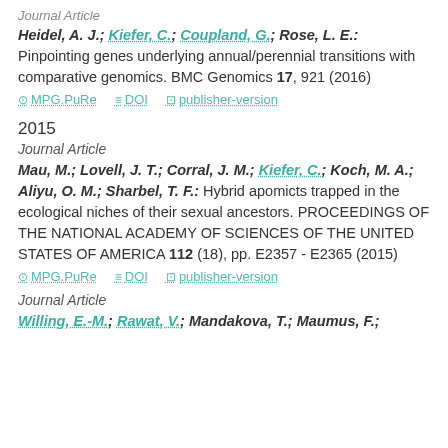Journal Article
Heidel, A. J.; Kiefer, C.; Coupland, G.; Rose, L. E.: Pinpointing genes underlying annual/perennial transitions with comparative genomics. BMC Genomics 17, 921 (2016)
MPG.PuRe   DOI   publisher-version
2015
Journal Article
Mau, M.; Lovell, J. T.; Corral, J. M.; Kiefer, C.; Koch, M. A.; Aliyu, O. M.; Sharbel, T. F.: Hybrid apomicts trapped in the ecological niches of their sexual ancestors. PROCEEDINGS OF THE NATIONAL ACADEMY OF SCIENCES OF THE UNITED STATES OF AMERICA 112 (18), pp. E2357 - E2365 (2015)
MPG.PuRe   DOI   publisher-version
Journal Article
Willing, E.-M.; Rawat, V.; Mandakova, T.; Maumus, F.;